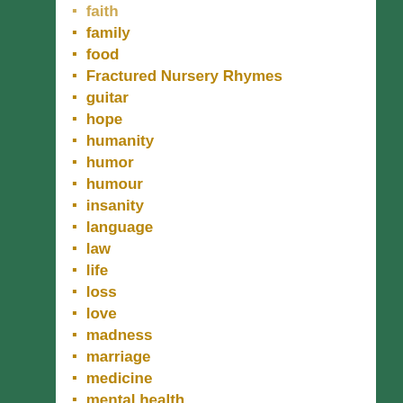faith
family
food
Fractured Nursery Rhymes
guitar
hope
humanity
humor
humour
insanity
language
law
life
loss
love
madness
marriage
medicine
mental health
nature
night
pilot